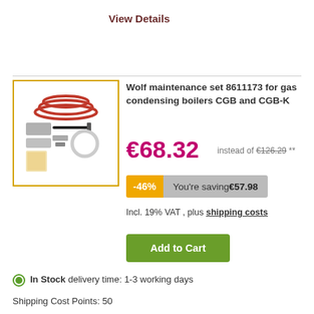View Details
[Figure (photo): Wolf maintenance set 8611173 product image showing red gasket, various components, ignition electrode, and white circular seal on white background]
Wolf maintenance set 8611173 for gas condensing boilers CGB and CGB-K
€68.32  instead of €126.29 **
-46%  You're saving €57.98
Incl. 19% VAT , plus shipping costs
Add to Cart
In Stock delivery time: 1-3 working days
Shipping Cost Points: 50